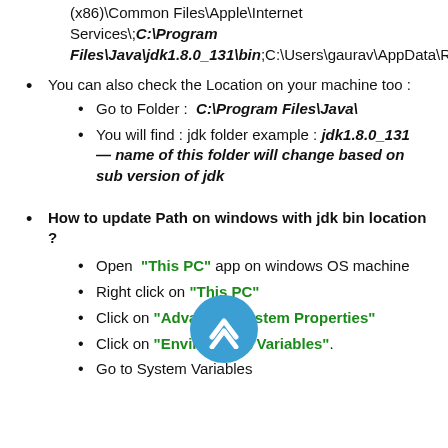(x86)\Common Files\Apple\Internet Services\;C:\Program Files\Java\jdk1.8.0_131\bin;C:\Users\gaurav\AppData\Roaming\npm;
You can also check the Location on your machine too :
Go to Folder :  C:\Program Files\Java\
You will find : jdk folder example : jdk1.8.0_131  — name of this folder will change based on sub version of jdk
How to update Path on windows with jdk bin location ?
Open "This PC" app on windows OS machine
Right click on "This PC"
Click on "Advanced System Properties"
Click on "Environment Variables".
Go to System Variables